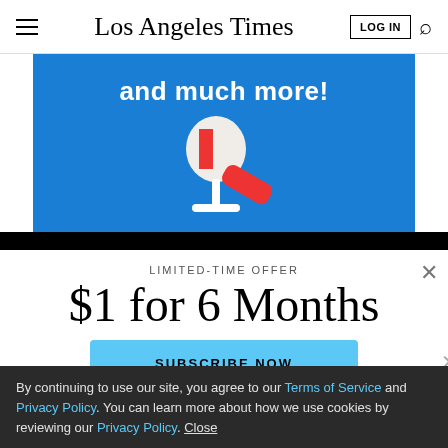Los Angeles Times | LOG IN | Search
[Figure (illustration): Blue banner with white bold text 'and much more!' and a red and white microphone illustration on a bright blue background]
LIMITED-TIME OFFER
$1 for 6 Months
SUBSCRIBE NOW
By continuing to use our site, you agree to our Terms of Service and Privacy Policy. You can learn more about how we use cookies by reviewing our Privacy Policy. Close